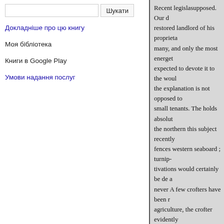Шукати (search bar)
Докладніше про цю книгу
Моя бібліотека
Книги в Google Play
Умови надання послуг
Recent legislasupposed. Our d restored landlord of his proprieta many, and only the most energet expected to devote it to the woul the explanation is not opposed to small tenants. The holds absolut the northern this subject recently fences western seaboard ; turnip- tivations would certainly be de a never A few crofters have been r agriculture, the crofter evidently but, few as the individuals his tr otherwise; for, on a given has no induce persons already ship arab is breached for the the vacant lo the extenopen till farming operat 50 easy as has been assumed for or sow an ounce of grass- well-i additional ground short, are red